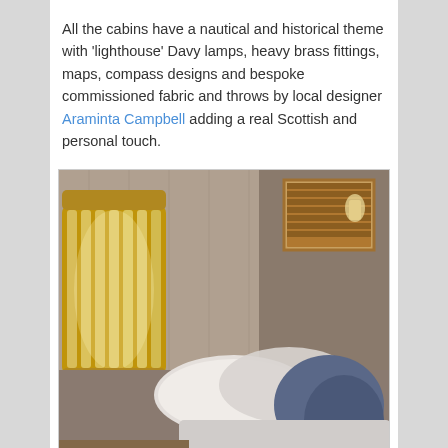All the cabins have a nautical and historical theme with 'lighthouse' Davy lamps, heavy brass fittings, maps, compass designs and bespoke commissioned fabric and throws by local designer Araminta Campbell adding a real Scottish and personal touch.
[Figure (photo): Interior of a cabin showing a large brass wall-mounted lamp resembling a lighthouse lamp on the left, a wood-paneled headboard, white pillows and blue cushions on the bed, and a small window with wooden blinds in the upper right.]